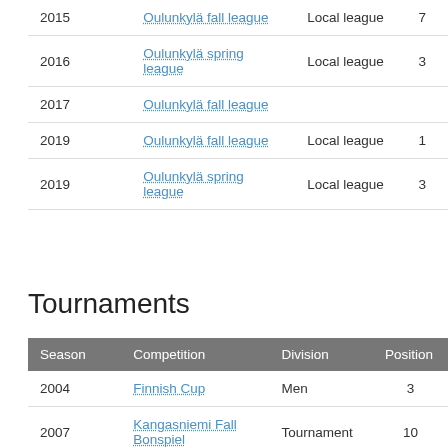| Season | Competition | Division | Position |
| --- | --- | --- | --- |
| 2015 | Oulunkylä fall league | Local league | 7 |
| 2016 | Oulunkylä spring league | Local league | 3 |
| 2017 | Oulunkylä fall league |  |  |
| 2019 | Oulunkylä fall league | Local league | 1 |
| 2019 | Oulunkylä spring league | Local league | 3 |
Tournaments
| Season | Competition | Division | Position |
| --- | --- | --- | --- |
| 2004 | Finnish Cup | Men | 3 |
| 2007 | Kangasniemi Fall Bonspiel | Tournament | 10 |
| 2007 | Finnish Cup | Men | 1 |
| 2008 | Reindeer Cup | Tournament | 1 |
| 2008 | Loimaa Country Curling | Tournament | 1 |
| 2008 | Finnish Cup | Tournament | 3 |
| 2008 | Kangasniemi Fall Bonspiel | Tournament | 8 |
| 2008 | Loimaa Country | Tournament |  |